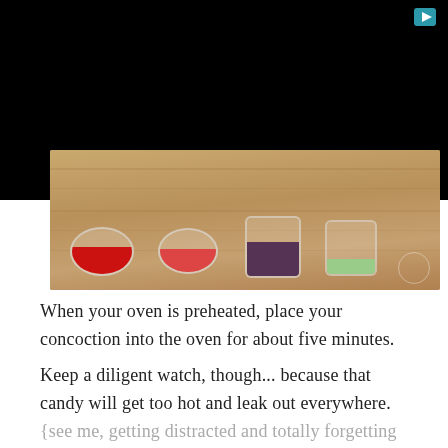[Figure (photo): Video thumbnail showing four small glass bowls filled with colorful candies (red, pink, purple, green) on a wooden surface. A play button icon is visible in the upper right corner. Upper portion is black (video player).]
When your oven is preheated, place your concoction into the oven for about five minutes.
Keep a diligent watch, though... because that candy will get too hot and leak out everywhere.
{see me, getting distracted and totally forgetting about them for ten minutes until the